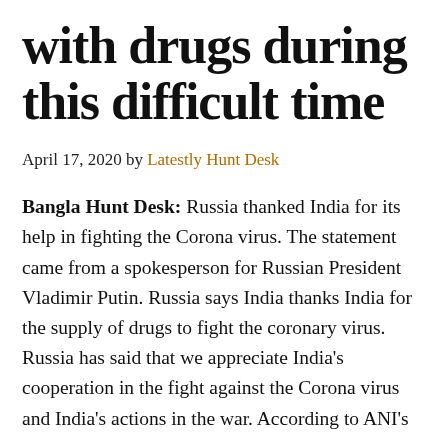with drugs during this difficult time
April 17, 2020 by Latestly Hunt Desk
Bangla Hunt Desk: Russia thanked India for its help in fighting the Corona virus. The statement came from a spokesperson for Russian President Vladimir Putin. Russia says India thanks India for the supply of drugs to fight the coronary virus. Russia has said that we appreciate India's cooperation in the fight against the Corona virus and India's actions in the war. According to ANI's